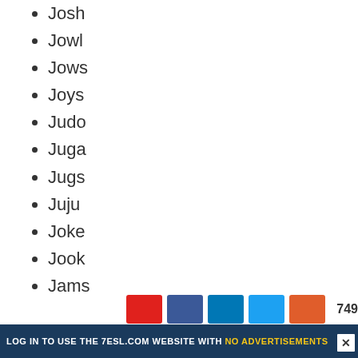Josh
Jowl
Jows
Joys
Judo
Juga
Jugs
Juju
Joke
Jook
Jams
Jude
Jukes
Jura
Jute
Jagg
LOG IN TO USE THE 7ESL.COM WEBSITE WITH NO ADVERTISEMENTS